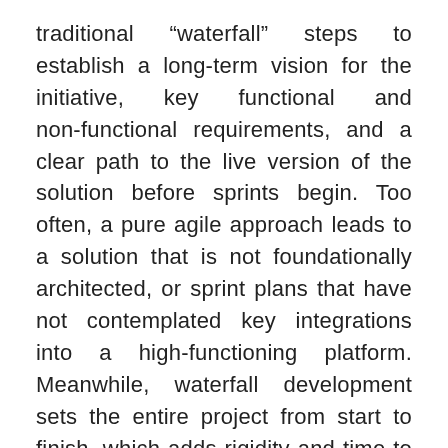traditional “waterfall” steps to establish a long-term vision for the initiative, key functional and non-functional requirements, and a clear path to the live version of the solution before sprints begin. Too often, a pure agile approach leads to a solution that is not foundationally architected, or sprint plans that have not contemplated key integrations into a high-functioning platform. Meanwhile, waterfall development sets the entire project from start to finish, which adds rigidity and time to the development process that many programs can’t afford.
A “wateragile” approach takes the best of